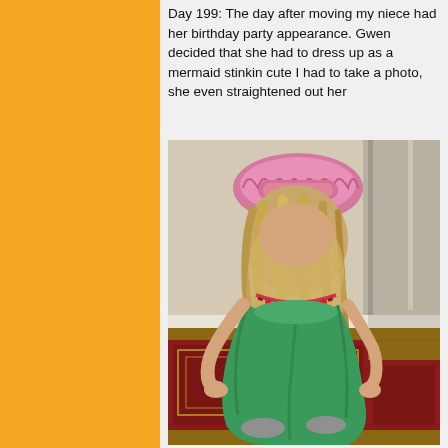Day 199: The day after moving my niece had her birthday party appearance. Gwen decided that she had to dress up as a mermaid stinkin cute I had to take a photo, she even straightened out her
[Figure (photo): A young girl wearing a green mermaid costume with a pink ruffle collar/headpiece and bead necklace, bent over on a decorative rug on a hardwood floor, her blonde hair hanging down.]